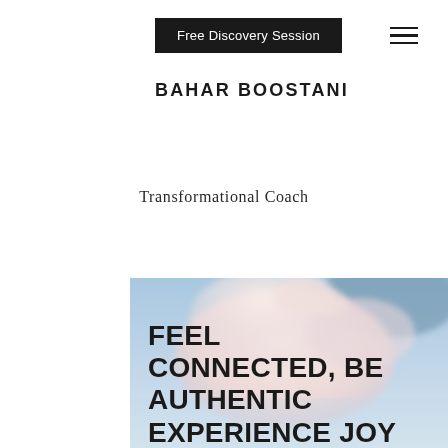Free Discovery Session
BAHAR BOOSTANI
Transformational Coach
[Figure (photo): Abstract soft pink and blue cloud-like smoke or paint in water, used as hero background image with large text overlay reading FEEL CONNECTED, BE AUTHENTIC EXPERIENCE JOY]
FEEL CONNECTED, BE AUTHENTIC EXPERIENCE JOY